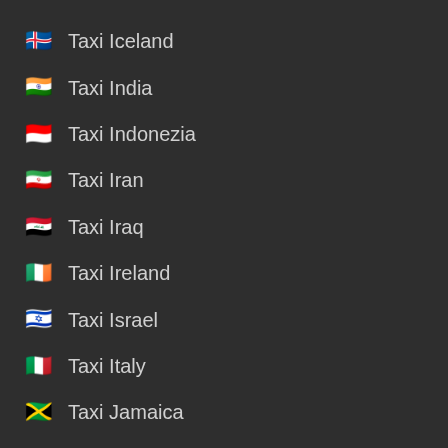🇮🇸 Taxi Iceland
🇮🇳 Taxi India
🇮🇩 Taxi Indonezia
🇮🇷 Taxi Iran
🇮🇶 Taxi Iraq
🇮🇪 Taxi Ireland
🇮🇱 Taxi Israel
🇮🇹 Taxi Italy
🇯🇲 Taxi Jamaica
🇯🇵 Taxi Japan
🇯🇪 Taxi Jersey